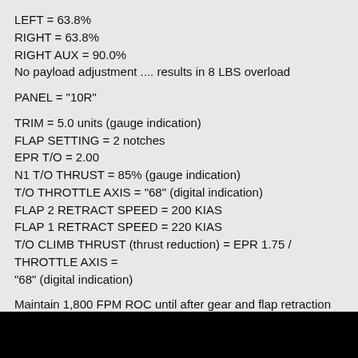LEFT = 63.8%
RIGHT = 63.8%
RIGHT AUX = 90.0%
No payload adjustment .... results in 8 LBS overload
PANEL = "10R"
TRIM = 5.0 units (gauge indication)
FLAP SETTING = 2 notches
EPR T/O = 2.00
N1 T/O THRUST = 85% (gauge indication)
T/O THROTTLE AXIS = "68" (digital indication)
FLAP 2 RETRACT SPEED = 200 KIAS
FLAP 1 RETRACT SPEED = 220 KIAS
T/O CLIMB THRUST (thrust reduction) = EPR 1.75 / THROTTLE AXIS = "68" (digital indication)
Maintain 1,800 FPM ROC until after gear and flap retraction .... then increase ROC to
2,500 FPM and assume the following climb schedule
- Maintain 2,500 FPM ROC until 12,000 FT
- 10,000 FT reduce ROC to 2,000 FPM
- 16,000 FT reduce ROC to 1,800 FPM